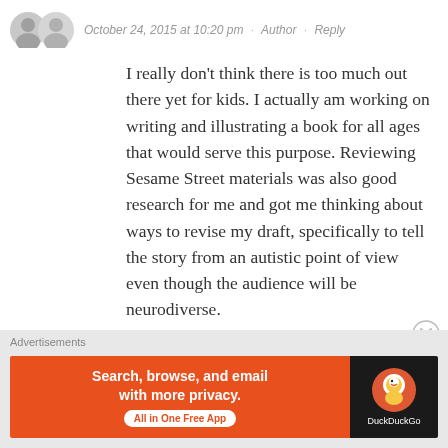October 24, 2015 at 10:20 pm · Author · Reply
I really don't think there is too much out there yet for kids. I actually am working on writing and illustrating a book for all ages that would serve this purpose. Reviewing Sesame Street materials was also good research for me and got me thinking about ways to revise my draft, specifically to tell the story from an autistic point of view even though the audience will be neurodiverse.
★ Like
[Figure (infographic): DuckDuckGo advertisement banner: orange left panel with text 'Search, browse, and email with more privacy. All in One Free App', black right panel with DuckDuckGo duck logo and 'DuckDuckGo' text]